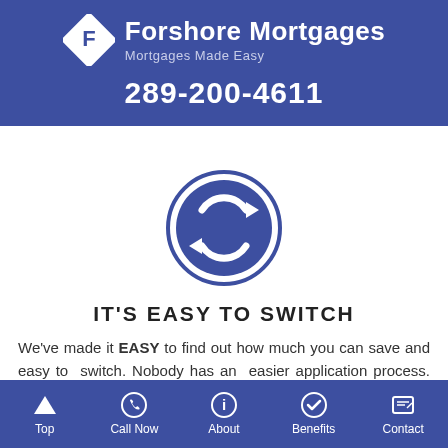[Figure (logo): Forshore Mortgages logo: diamond shape with letter F, white on blue background]
Forshore Mortgages
Mortgages Made Easy
289-200-4611
[Figure (illustration): Circular refresh/switch icon with two arrows forming a circle, white on blue circle with blue outer ring, on white background]
IT'S EASY TO SWITCH
We've made it EASY to find out how much you can save and easy to switch. Nobody has an easier application process. There are no medical exams, and we can have you approved
Top | Call Now | About | Benefits | Contact